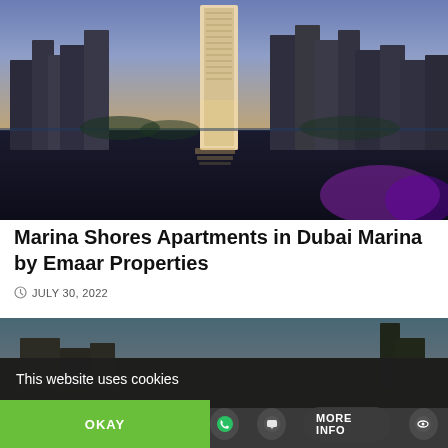[Figure (photo): Dubai Marina skyline at dusk with illuminated high-rise towers reflected in the water, purple lighting in the foreground]
Marina Shores Apartments in Dubai Marina by Emaar Properties
JULY 30, 2022
[Figure (photo): Second photo showing buildings against a blue sky, partially obscured by cookie consent overlay]
This website uses cookies
OKAY
MORE INFO